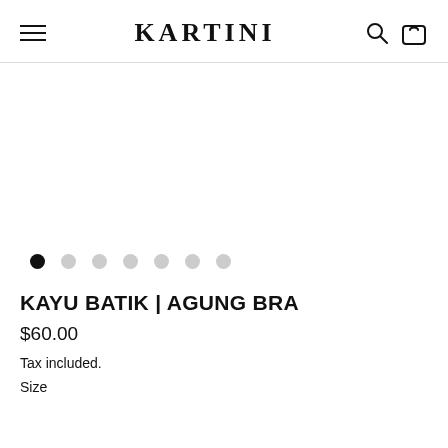KARTINI
[Figure (other): Product image area for KAYU BATIK | AGUNG BRA with carousel dots below showing 7 dots, first dot active]
KAYU BATIK | AGUNG BRA
$60.00
Tax included.
Size